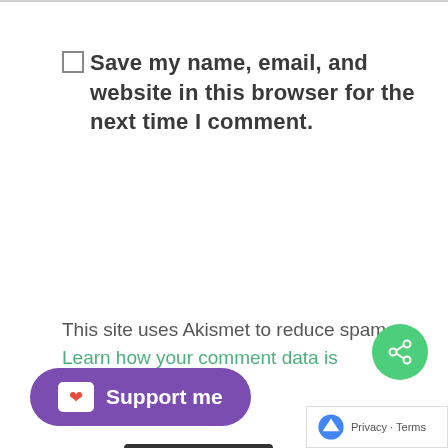Save my name, email, and website in this browser for the next time I comment.
Submit Comment
This site uses Akismet to reduce spam. Learn how your comment data is processed.
[Figure (illustration): Purple rounded button with Ko-fi cup icon and text 'Support me']
[Figure (illustration): Green circular share button with share icon, and a reCAPTCHA privacy/terms badge in the lower right corner]